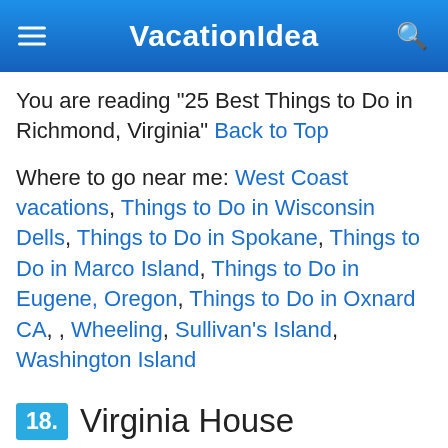VacationIdea
You are reading "25 Best Things to Do in Richmond, Virginia" Back to Top
Where to go near me: West Coast vacations, Things to Do in Wisconsin Dells, Things to Do in Spokane, Things to Do in Marco Island, Things to Do in Eugene, Oregon, Things to Do in Oxnard CA, , Wheeling, Sullivan's Island, Washington Island
18. Virginia House